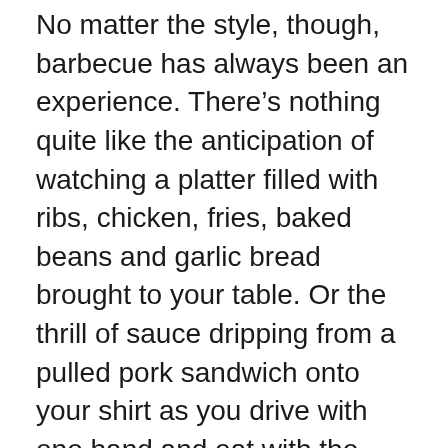No matter the style, though, barbecue has always been an experience. There's nothing quite like the anticipation of watching a platter filled with ribs, chicken, fries, baked beans and garlic bread brought to your table. Or the thrill of sauce dripping from a pulled pork sandwich onto your shirt as you drive with one hand and eat with the other. (Tip: Don't 'cue and drive.)
I love the one-of-a-kind names that celebrate the wacky joy of barbecue. Locally, we have Git-N-Messy, The Polite Pig, Bubbalou's Bodacious Bar-B-Que, and Pig Floyd's Urban Barbakoa, among others. And what other cuisine features logos with mascots celebrating their own demise? There are pigs with chef hats holding forks and laughing while surrounded by the fires of hell.  Are they about to